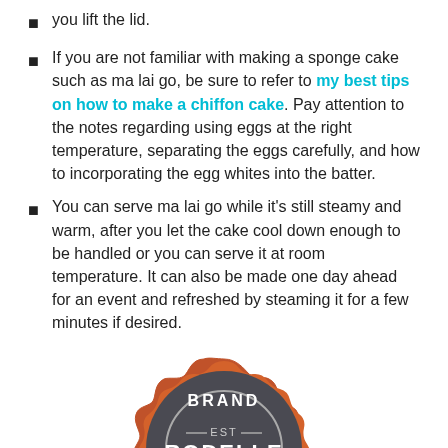you lift the lid.
If you are not familiar with making a sponge cake such as ma lai go, be sure to refer to my best tips on how to make a chiffon cake. Pay attention to the notes regarding using eggs at the right temperature, separating the eggs carefully, and how to incorporating the egg whites into the batter.
You can serve ma lai go while it’s still steamy and warm, after you let the cake cool down enough to be handled or you can serve it at room temperature. It can also be made one day ahead for an event and refreshed by steaming it for a few minutes if desired.
[Figure (logo): Rodelle Brand Ambassador badge/seal. A circular badge with orange scalloped border, dark gray center circle with text: BRAND at top, EST in middle, RODELLE in large letters, 1936 below, AMBASSADOR at bottom arc.]